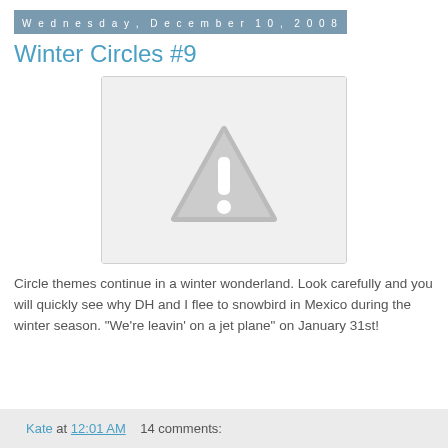Wednesday, December 10, 2008
Winter Circles #9
[Figure (photo): Broken/unavailable image placeholder showing a grey triangle with exclamation mark warning icon on a light grey background]
Circle themes continue in a winter wonderland. Look carefully and you will quickly see why DH and I flee to snowbird in Mexico during the winter season. "We're leavin' on a jet plane" on January 31st!
Kate at 12:01 AM    14 comments: